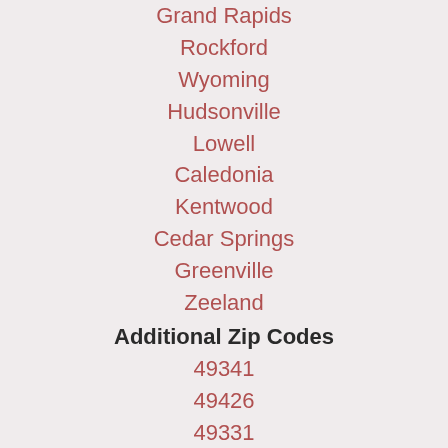Grand Rapids
Rockford
Wyoming
Hudsonville
Lowell
Caledonia
Kentwood
Cedar Springs
Greenville
Zeeland
Additional Zip Codes
49341
49426
49331
49316
49506
49507